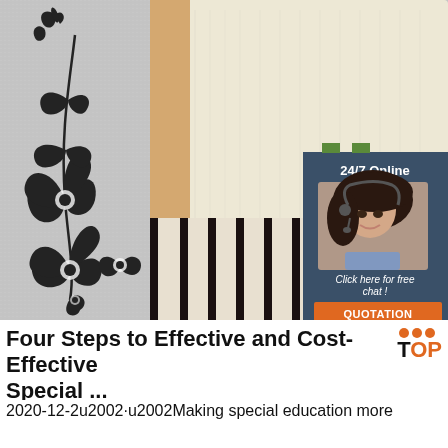[Figure (photo): A clothing mannequin torso wearing a cream/off-white ribbed short-sleeve top with a black and white striped skirt bottom, on a gray textured background with decorative black floral scrollwork on the left side. Top-right corner has an advertisement box with a woman wearing a headset, text '24/7 Online', 'Click here for free chat!', and an orange QUOTATION button.]
Four Steps to Effective and Cost-Effective Special ...
2020-12-2u2002·u2002Making special education more